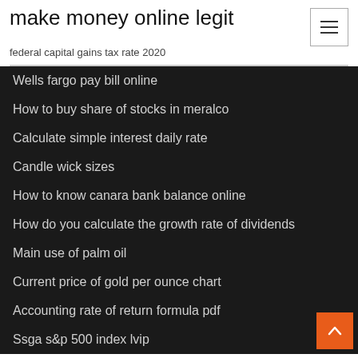make money online legit
federal capital gains tax rate 2020
Wells fargo pay bill online
How to buy share of stocks in meralco
Calculate simple interest daily rate
Candle wick sizes
How to know canara bank balance online
How do you calculate the growth rate of dividends
Main use of palm oil
Current price of gold per ounce chart
Accounting rate of return formula pdf
Ssga s&p 500 index lvip